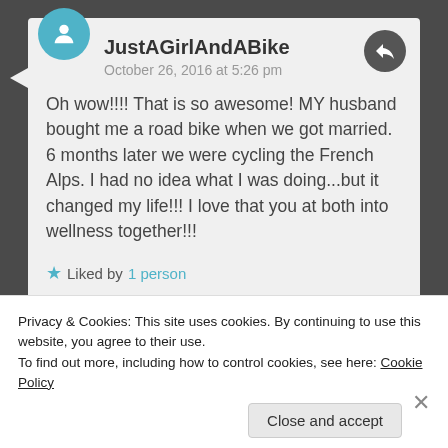JustAGirlAndABike
October 26, 2016 at 5:26 pm
Oh wow!!!! That is so awesome! MY husband bought me a road bike when we got married. 6 months later we were cycling the French Alps. I had no idea what I was doing...but it changed my life!!! I love that you at both into wellness together!!!
Liked by 1 person
Privacy & Cookies: This site uses cookies. By continuing to use this website, you agree to their use. To find out more, including how to control cookies, see here: Cookie Policy
Close and accept